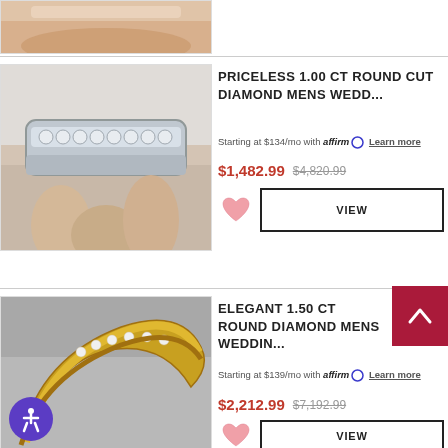[Figure (photo): Partial image of a ring on a hand, cropped at top of page]
[Figure (photo): Silver diamond mens wedding band ring held in hand]
PRICELESS 1.00 CT ROUND CUT DIAMOND MENS WEDD...
Starting at $134/mo with affirm. Learn more
$1,482.99  $4,820.99
[Figure (photo): Gold diamond mens wedding band ring]
ELEGANT 1.50 CT ROUND DIAMOND MENS WEDDIN...
Starting at $139/mo with affirm. Learn more
$2,212.99  $7,192.99